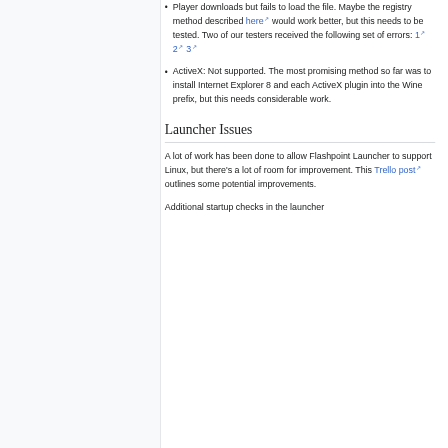Player downloads but fails to load the file. Maybe the registry method described here would work better, but this needs to be tested. Two of our testers received the following set of errors: 1 2 3
ActiveX: Not supported. The most promising method so far was to install Internet Explorer 8 and each ActiveX plugin into the Wine prefix, but this needs considerable work.
Launcher Issues
A lot of work has been done to allow Flashpoint Launcher to support Linux, but there's a lot of room for improvement. This Trello post outlines some potential improvements.
Additional startup checks in the launcher